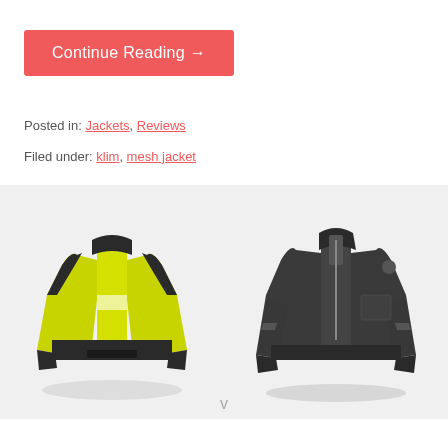Continue Reading →
Posted in: Jackets, Reviews
Filed under: klim, mesh jacket
[Figure (photo): Two motorcycle jackets side by side on a light gray background. Left jacket is a hi-vis yellow/green and black mesh riding jacket. Right jacket is a black mesh motorcycle jacket.]
v